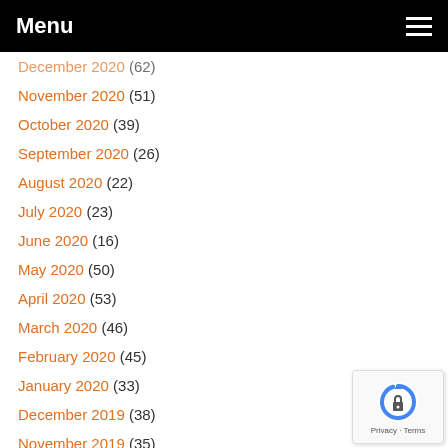Menu
December 2020 (62)
November 2020 (51)
October 2020 (39)
September 2020 (26)
August 2020 (22)
July 2020 (23)
June 2020 (16)
May 2020 (50)
April 2020 (53)
March 2020 (46)
February 2020 (45)
January 2020 (33)
December 2019 (38)
November 2019 (35)
October 2019 (33)
[Figure (logo): Google reCAPTCHA badge with Privacy and Terms links]